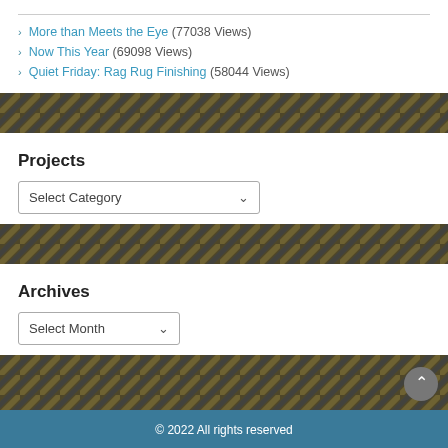More than Meets the Eye (77038 Views)
Now This Year (69098 Views)
Quiet Friday: Rag Rug Finishing (58044 Views)
[Figure (photo): Woven rug texture band — dark navy and olive/tan diagonal weave pattern]
Projects
Select Category (dropdown)
[Figure (photo): Woven rug texture band — dark navy and olive/tan diagonal weave pattern]
Archives
Select Month (dropdown)
[Figure (photo): Woven rug texture band — dark navy and olive/tan diagonal weave pattern]
© 2022 All rights reserved